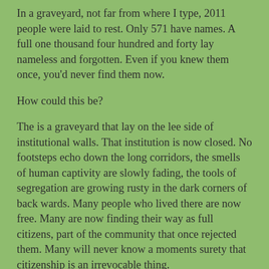In a graveyard, not far from where I type, 2011 people were laid to rest.  Only 571 have names. A full one thousand four hundred and forty lay nameless and forgotten. Even if you knew them once, you'd never find them now.
How could this be?
The is a graveyard that lay on the lee side of institutional walls. That institution is now closed. No footsteps echo down the long corridors, the smells of human captivity are slowly fading, the tools of segregation are growing rusty in the dark corners of back wards. Many people who lived there are now free. Many are now finding their way as full citizens, part of the community that once rejected them. Many will never know a moments surety that citizenship is an irrevocable thing.
Murderers serve less time than people who committed the crime of difference.
Those that lived, and died, at the facility, were buried there. Most in unmarked graves. Most without a single indicator that where they rest is ground made holy - not by designation or by prayer but